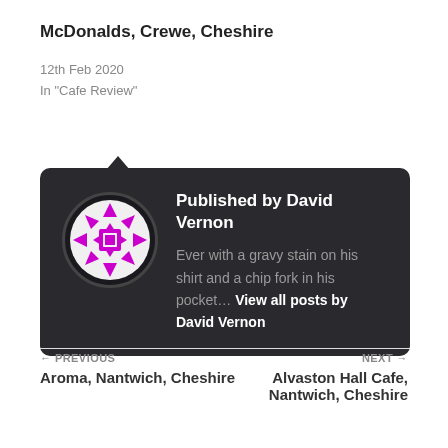McDonalds, Crewe, Cheshire
12th Feb 2020
In "Cafe Review"
[Figure (infographic): Dark rounded card with tooltip arrow, showing an avatar logo (circular magenta/white geometric snowflake pattern on dark background) and publisher info: 'Published by David Vernon' with description 'Ever with a gravy stain on his shirt and a chip fork in his pocket... View all posts by David Vernon']
← PREVIOUS
Aroma, Nantwich, Cheshire
NEXT →
Alvaston Hall Cafe, Nantwich, Cheshire